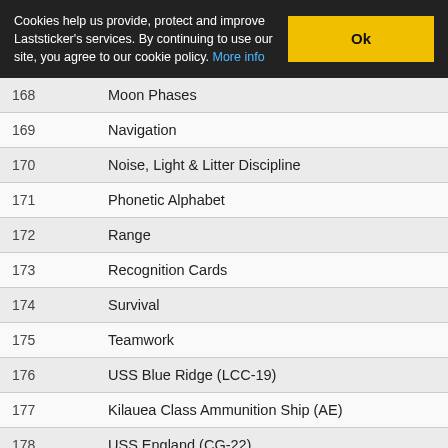Cookies help us provide, protect and improve Laststicker's services. By continuing to use our site, you agree to our cookie policy. More info
| # | Name |
| --- | --- |
| 168 | Moon Phases |
| 169 | Navigation |
| 170 | Noise, Light & Litter Discipline |
| 171 | Phonetic Alphabet |
| 172 | Range |
| 173 | Recognition Cards |
| 174 | Survival |
| 175 | Teamwork |
| 176 | USS Blue Ridge (LCC-19) |
| 177 | Kilauea Class Ammunition Ship (AE) |
| 178 | USS England (CG-22) |
| 179 | USS Inchon (LPH-12) |
| 180 | USS John F. Kennedy (CV-67) |
| 181 | USS Midway (CV-41) |